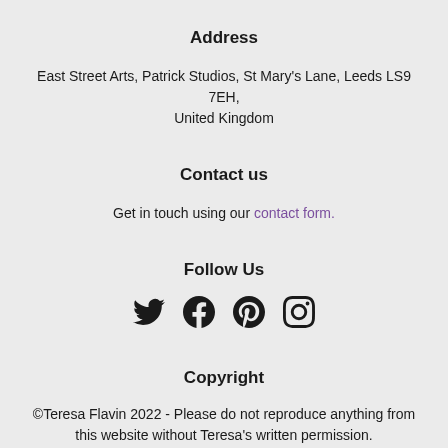Address
East Street Arts, Patrick Studios, St Mary's Lane, Leeds LS9 7EH, United Kingdom
Contact us
Get in touch using our contact form.
Follow Us
[Figure (infographic): Four social media icons: Twitter bird, Facebook F, Pinterest P, Instagram camera]
Copyright
©Teresa Flavin 2022 - Please do not reproduce anything from this website without Teresa's written permission.